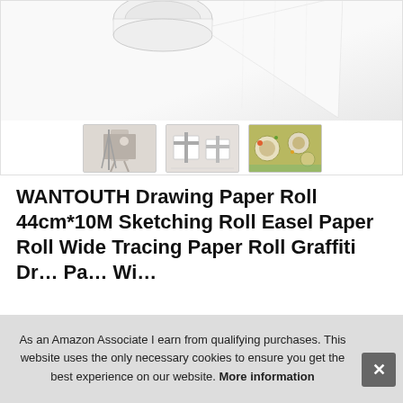[Figure (photo): Product image of WANTOUTH Drawing Paper Roll with thumbnail images below showing a child at an easel, gift wrapped packages, and a food/craft scene]
WANTOUTH Drawing Paper Roll 44cm*10M Sketching Roll Easel Paper Roll Wide Tracing Paper Roll Graffiti Drawing Paper Roll White Art Paper Roll for Kids
As an Amazon Associate I earn from qualifying purchases. This website uses the only necessary cookies to ensure you get the best experience on our website. More information